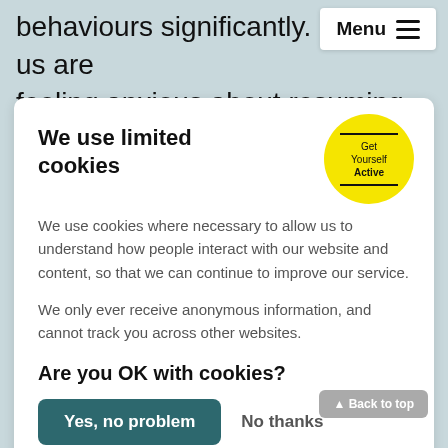behaviours significantly. Many of us are feeling anxious about resuming the activities we did before. Gaining more understanding
We use limited cookies
[Figure (logo): Yellow circle logo with text 'Get Yourself Active']
We use cookies where necessary to allow us to understand how people interact with our website and content, so that we can continue to improve our service.
We only ever receive anonymous information, and cannot track you across other websites.
Are you OK with cookies?
Yes, no problem
No thanks
our resources hub.